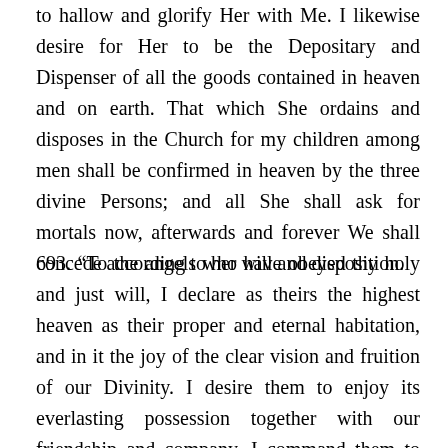to hallow and glorify Her with Me. I likewise desire for Her to be the Depositary and Dispenser of all the goods contained in heaven and on earth. That which She ordains and disposes in the Church for my children among men shall be confirmed in heaven by the three divine Persons; and all She shall ask for mortals now, afterwards and forever We shall concede according to her will and disposition.
693. “To the angels who have obeyed thy holy and just will, I declare as theirs the highest heaven as their proper and eternal habitation, and in it the joy of the clear vision and fruition of our Divinity. I desire them to enjoy its everlasting possession together with our friendship and company. I command them to recognize my Mother as their legitimate Queen and Lady, that they serve, accompany